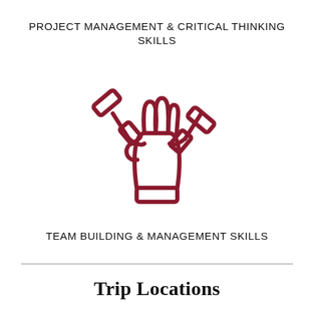PROJECT MANAGEMENT & CRITICAL THINKING SKILLS
[Figure (illustration): An icon of a hand (open palm) with two wrenches/tools crossed behind it in a V shape, drawn in dark red outline style, representing team building and management skills.]
TEAM BUILDING & MANAGEMENT SKILLS
Trip Locations